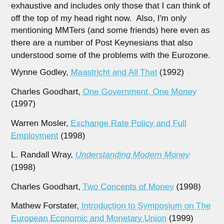exhaustive and includes only those that I can think of off the top of my head right now.  Also, I'm only mentioning MMTers (and some friends) here even as there are a number of Post Keynesians that also understood some of the problems with the Eurozone.
Wynne Godley, Maastricht and All That (1992)
Charles Goodhart, One Government, One Money (1997)
Warren Mosler, Exchange Rate Policy and Full Employment (1998)
L. Randall Wray, Understanding Modern Money (1998)
Charles Goodhart, Two Concepts of Money (1998)
Mathew Forstater, Introduction to Symposium on The European Economic and Monetary Union (1999) (note other papers in the symposium, too)